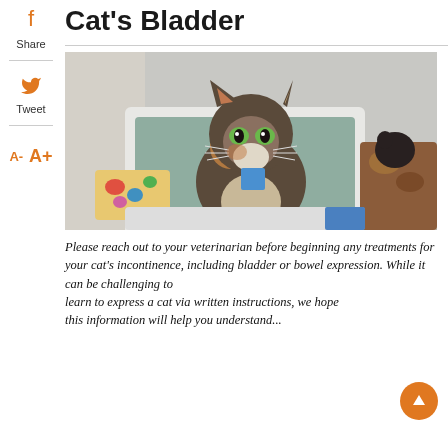Cat's Bladder
[Figure (photo): A calico/tabby cat sitting inside a white litter box, looking up at the camera with green eyes. A blue square sticker is on its chest. Colorful floral pillow in background, another cat visible in background.]
Please reach out to your veterinarian before beginning any treatments for your cat's incontinence, including bladder or bowel expression. While it can be challenging to learn to express a cat via written instructions, we hope this information will help you understand...